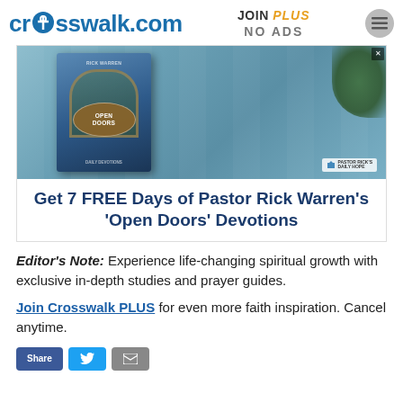crosswalk.com | JOIN PLUS NO ADS
[Figure (photo): Advertisement for Pastor Rick Warren's 'Open Doors' Devotions showing a book cover with an arched doorway and the text 'Get 7 FREE Days of Pastor Rick Warren's Open Doors Devotions']
Editor's Note: Experience life-changing spiritual growth with exclusive in-depth studies and prayer guides.
Join Crosswalk PLUS for even more faith inspiration. Cancel anytime.